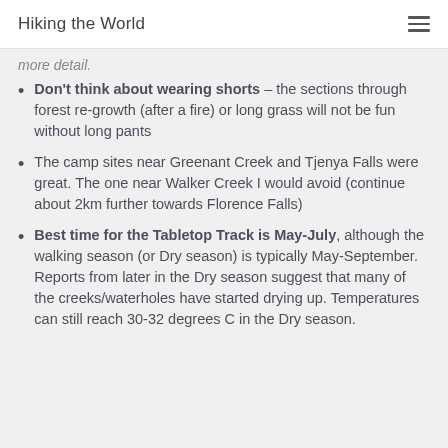Hiking the World
more detail.
Don't think about wearing shorts – the sections through forest re-growth (after a fire) or long grass will not be fun without long pants
The camp sites near Greenant Creek and Tjenya Falls were great. The one near Walker Creek I would avoid (continue about 2km further towards Florence Falls)
Best time for the Tabletop Track is May-July, although the walking season (or Dry season) is typically May-September. Reports from later in the Dry season suggest that many of the creeks/waterholes have started drying up. Temperatures can still reach 30-32 degrees C in the Dry season.